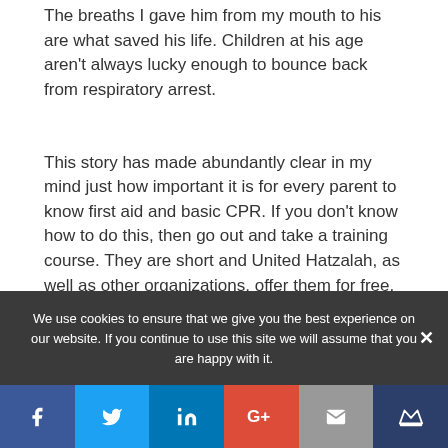The breaths I gave him from my mouth to his are what saved his life. Children at his age aren't always lucky enough to bounce back from respiratory arrest.
This story has made abundantly clear in my mind just how important it is for every parent to know first aid and basic CPR. If you don't know how to do this, then go out and take a training course. They are short and United Hatzalah, as well as other organizations, offer them for free.
We use cookies to ensure that we give you the best experience on our website. If you continue to use this site we will assume that you are happy with it.
[Figure (infographic): Social sharing bar with Facebook, Twitter, LinkedIn, Google+, Email, and a crown/bookmark icon buttons.]